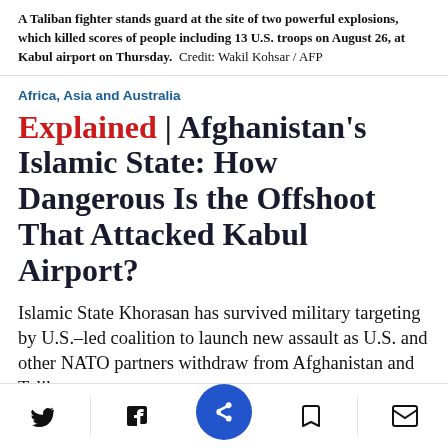A Taliban fighter stands guard at the site of two powerful explosions, which killed scores of people including 13 U.S. troops on August 26, at Kabul airport on Thursday. Credit: Wakil Kohsar / AFP
Africa, Asia and Australia
Explained | Afghanistan's Islamic State: How Dangerous Is the Offshoot That Attacked Kabul Airport?
Islamic State Khorasan has survived military targeting by U.S.–led coalition to launch new assault as U.S. and other NATO partners withdraw from Afghanistan and Taliban return to power
The Associated Press